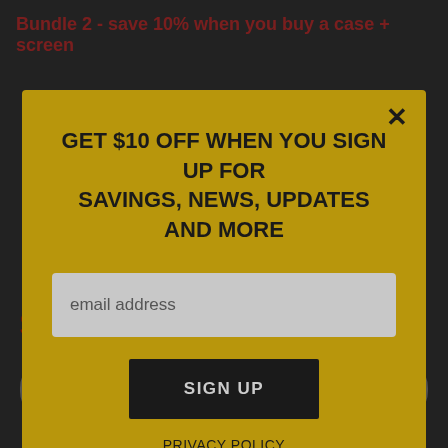Bundle 2 - save 10% when you buy a case + screen
GET $10 OFF WHEN YOU SIGN UP FOR SAVINGS, NEWS, UPDATES AND MORE
email address
SIGN UP
PRIVACY POLICY
$42.46
$49.95
Add to Cart